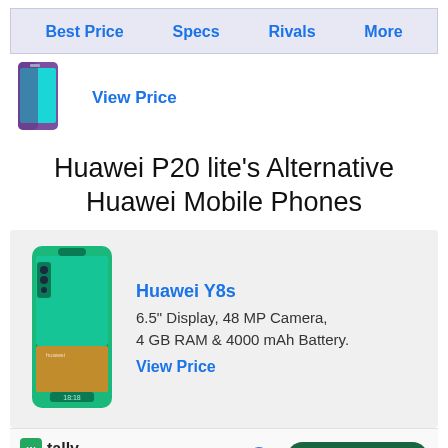Best Price | Specs | Rivals | More
[Figure (photo): Purple smartphone thumbnail with teal screen]
View Price
Huawei P20 lite's Alternative Huawei Mobile Phones
[Figure (photo): Huawei Y8s green smartphone]
Huawei Y8s
6.5" Display, 48 MP Camera,
4 GB RAM & 4000 mAh Battery.
View Price
[Figure (screenshot): Tally app advertisement: Fast credit card payoff, Download Now button]
a,
Ittery.